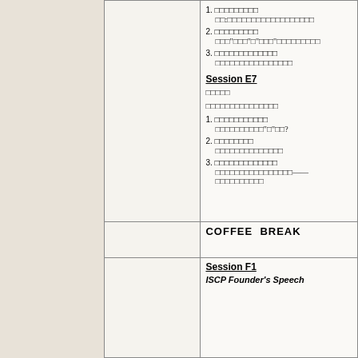| Time | Content |
| --- | --- |
|  | Session E7 content with numbered items |
|  | COFFEE  BREAK |
|  | Session F1 / ISCP Founder's Speech |